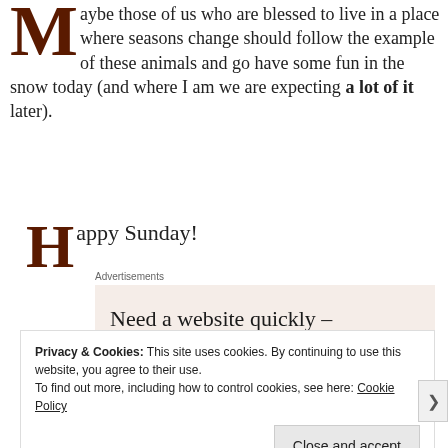Maybe those of us who are blessed to live in a place where seasons change should follow the example of these animals and go have some fun in the snow today (and where I am we are expecting a lot of it later).
Happy Sunday!
Advertisements
[Figure (other): Advertisement box with beige background reading: Need a website quickly – and on a budget?]
Privacy & Cookies: This site uses cookies. By continuing to use this website, you agree to their use. To find out more, including how to control cookies, see here: Cookie Policy
Close and accept